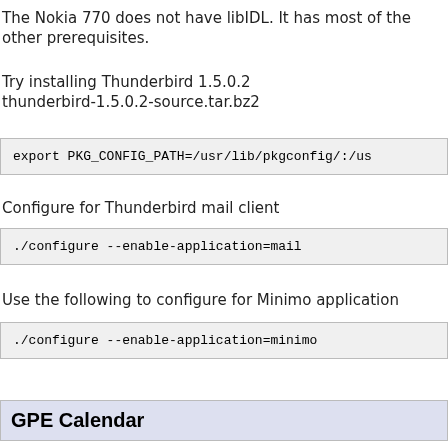The Nokia 770 does not have libIDL. It has most of the other prerequisites.
Try installing Thunderbird 1.5.0.2
thunderbird-1.5.0.2-source.tar.bz2
export PKG_CONFIG_PATH=/usr/lib/pkgconfig/:/us
Configure for Thunderbird mail client
./configure --enable-application=mail
Use the following to configure for Minimo application
./configure --enable-application=minimo
GPE Calendar